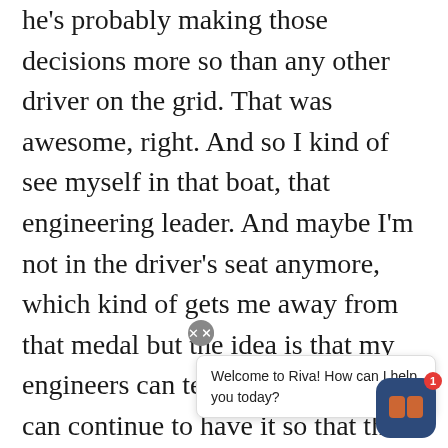he's probably making those decisions more so than any other driver on the grid. That was awesome, right. And so I kind of see myself in that boat, that engineering leader. And maybe I'm not in the driver's seat anymore, which kind of gets me away from that medal but the idea is that my engineers can tell me, I hope that I can continue to have it so that the engineers on my teams can continue to tell me things. And I understa te as well, s ce
[Figure (screenshot): Chat widget overlay with close button (X), a speech bubble saying 'Welcome to Riva! How can I help you today?', and the Riva app icon (dark blue rounded square with white 'ri' logo) with a red notification badge showing '1']